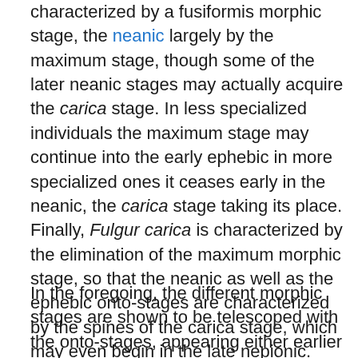characterized by a fusiformis morphic stage, the neanic largely by the maximum stage, though some of the later neanic stages may actually acquire the carica stage. In less specialized individuals the maximum stage may continue into the early ephebic in more specialized ones it ceases early in the neanic, the carica stage taking its place. Finally, Fulgur carica is characterized by the elimination of the maximum morphic stage, so that the neanic as well as the ephebic onto-stages are characterized by the spines of the carica stage, which may even begin in the late nepionic.
In the foregoing, the different morphic stages are shown to be telescoped with the onto-stages, appearing either earlier and earlier in the ontogeny of successive individuals, through the operation of the law of acceleration or tachygenesis; or later and later, through the operation of the complementary law of retardation or